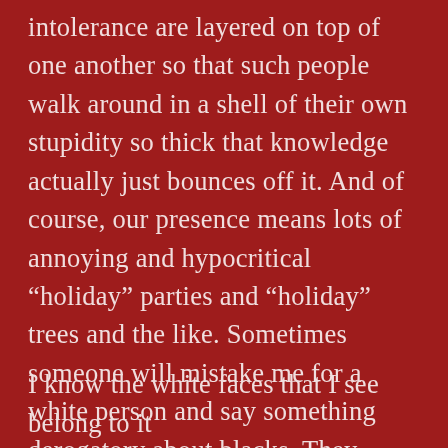intolerance are layered on top of one another so that such people walk around in a shell of their own stupidity so thick that knowledge actually just bounces off it. And of course, our presence means lots of annoying and hypocritical “holiday” parties and “holiday” trees and the like. Sometimes someone will mistake me for a white person and say something derogatory about blacks. They think I’m in on the joke, but the truth is, I am the joke.
I know the white faces that I see belong to it